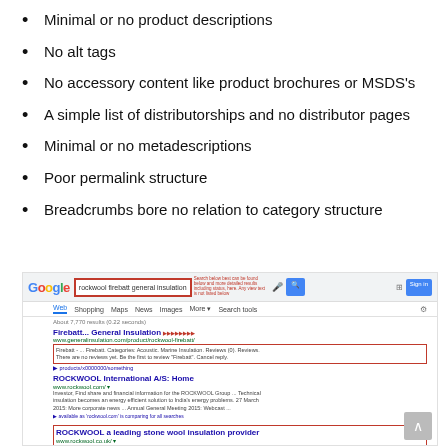Minimal or no product descriptions
No alt tags
No accessory content like product brochures or MSDS's
A simple list of distributorships and no distributor pages
Minimal or no metadescriptions
Poor permalink structure
Breadcrumbs bore no relation to category structure
[Figure (screenshot): Google search results page for 'rockwool firebatt general insulation' showing results with red boxes highlighting the search bar, a result snippet for 'Firebatt... General Insulation' from www.generalinsulation.com, and 'ROCKWOOL a leading stone wool insulation provider' from www.rockwool.co.uk. Also shows ROCKWOOL International A/S Home result. A scroll-to-top button is visible in the bottom right.]